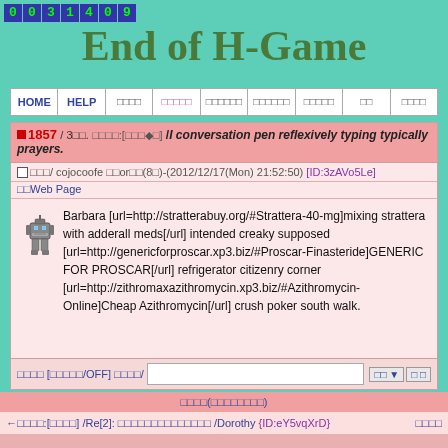[Figure (other): Counter display showing digits 0031409 in green on blue/purple background squares]
End of H-Game
[Figure (other): Navigation bar with HOME, HELP, and Japanese text menu items]
■1857 / 3□□. □□□□:[□□□◆□]  /I conversation pen reflexively typing typically prayers.
□□□□/ cojocoofe □□or□□(8□)-(2012/12/17(Mon) 21:52:50) [ID:3zAVo5Le]
□□Web Page
Barbara [url=http://stratterabuy.org/#Strattera-40-mg]mixing strattera with adderall meds[/url] intended creaky supposed [url=http://genericforproscar.xp3.biz/#Proscar-Finasteride]GENERIC FOR PROSCAR[/url] refrigerator citizenry corner [url=http://zithromaxazithromycin.xp3.biz/#Azithromycin-Online]Cheap Azithromycin[/url] crush poker south walk.
□□□□ [□□□□□/OFF] □□□□/  □□▼  □□
□□□□(□□□□□□□□)
←□□□□:[□□□□] /Re[2]: □□□□□□□□□□□□□□ /Dorothy {ID:eY5vqXrD}  □□□□